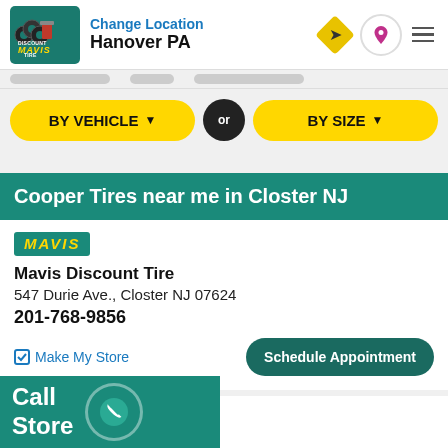Change Location
Hanover PA
BY VEHICLE ▼
OR
BY SIZE ▼
Cooper Tires near me in Closter NJ
Mavis Discount Tire
547 Durie Ave., Closter NJ 07624
201-768-9856
☑ Make My Store
Schedule Appointment
Mavis Discount Tire
Rd., Bergenfield NJ 07621
Call
Store